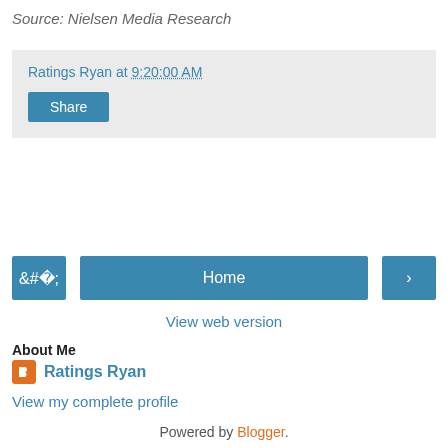Source: Nielsen Media Research
Ratings Ryan at 9:20:00 AM
Share
Home
View web version
About Me
Ratings Ryan
View my complete profile
Powered by Blogger.